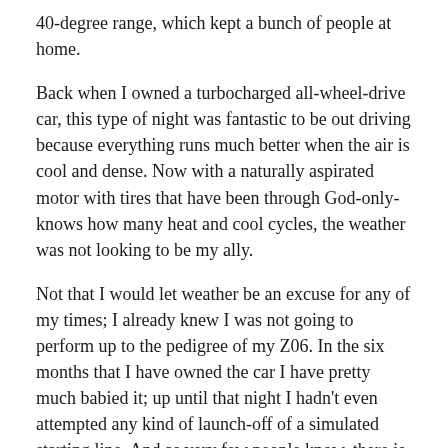40-degree range, which kept a bunch of people at home.
Back when I owned a turbocharged all-wheel-drive car, this type of night was fantastic to be out driving because everything runs much better when the air is cool and dense. Now with a naturally aspirated motor with tires that have been through God-only-knows how many heat and cool cycles, the weather was not looking to be my ally.
Not that I would let weather be an excuse for any of my times; I already knew I was not going to perform up to the pedigree of my Z06. In the six months that I have owned the car I have pretty much babied it; up until that night I hadn't even attempted any kind of launch-off of a simulated starting line. And as very few people know, there is a big difference between reading about it on the Internet and actually doing it.